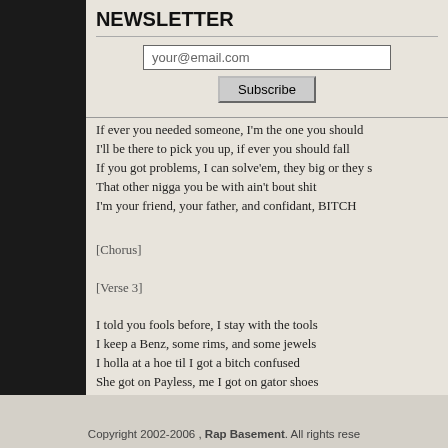NEWSLETTER
your@email.com
Subscribe
If ever you needed someone, I'm the one you should
I'll be there to pick you up, if ever you should fall
If you got problems, I can solve'em, they big or they s
That other nigga you be with ain't bout shit
I'm your friend, your father, and confidant, BITCH
[Chorus]
[Verse 3]
I told you fools before, I stay with the tools
I keep a Benz, some rims, and some jewels
I holla at a hoe til I got a bitch confused
She got on Payless, me I got on gator shoes
I'm shopping for chinchillas, in the summer they chea
Man this hoe you can have her, when I'm done I ain't
Man, bitches come and go, every nigga pimpin know
You saying it's secret, but you ain't gotta keep it on th
Bitch choose with me, I'll have you stripping in the st
Put my other hoes down, you get your ass beat
Now Nik my bottom bitch, she always come with
The last nigga she was with put stitches in her head
Get your hoe out of pocket, I'll put a charge on a bitc
Cause I need 4 TVs and AMGs for the six
Hoe make a pimp rich, I ain't paying bitch
Catch a date, suck a dick, shiiit, TRICK
[Chorus]
Yeah, in Hollywoood they say there's no b'ness like s
In the hood they say, there's no b'ness like hoe b'ness
They say I talk a lil fast, but if you listen a lil faster
I ain't got to slow down for you to catch up, BITCH
Copyright 2002-2006 , Rap Basement. All rights rese